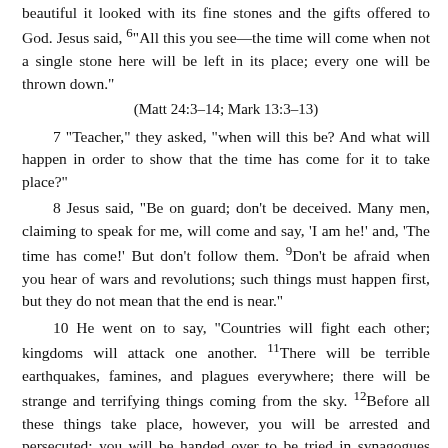beautiful it looked with its fine stones and the gifts offered to God. Jesus said, ‘6“All this you see—the time will come when not a single stone here will be left in its place; every one will be thrown down.”
(Matt 24:3–14; Mark 13:3–13)
7 “Teacher,” they asked, “when will this be? And what will happen in order to show that the time has come for it to take place?”
8 Jesus said, “Be on guard; don’t be deceived. Many men, claiming to speak for me, will come and say, ‘I am he!’ and, ‘The time has come!’ But don’t follow them. ⁹Don’t be afraid when you hear of wars and revolutions; such things must happen first, but they do not mean that the end is near.”
10 He went on to say, “Countries will fight each other; kingdoms will attack one another. ¹¹There will be terrible earthquakes, famines, and plagues everywhere; there will be strange and terrifying things coming from the sky. ¹²Before all these things take place, however, you will be arrested and persecuted; you will be handed over to be tried in synagogues and be put in prison; you will be brought before kings and rulers for my sake. ¹³This will be your chance to tell the Good News.